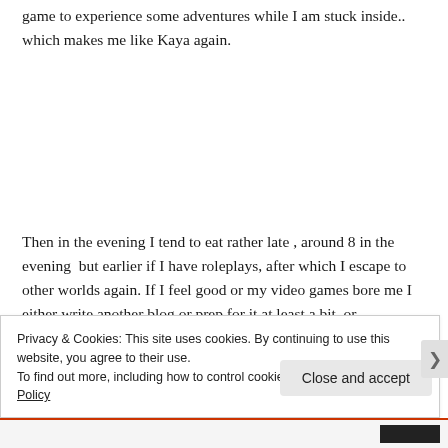game to experience some adventures while I am stuck inside.. which makes me like Kaya again.
Then in the evening I tend to eat rather late , around 8 in the evening  but earlier if I have roleplays, after which I escape to other worlds again. If I feel good or my video games bore me I either write another blog or prep for it at least a bit, or
Privacy & Cookies: This site uses cookies. By continuing to use this website, you agree to their use.
To find out more, including how to control cookies, see here: Cookie Policy
Close and accept